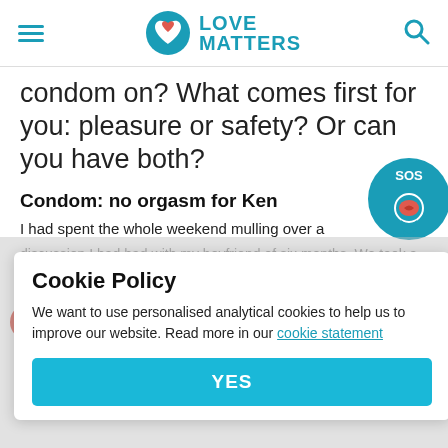Love Matters
condom on? What comes first for you: pleasure or safety? Or can you have both?
Condom: no orgasm for Ken
I had spent the whole weekend mulling over a discussion I had had with my boyfriend of six months. We took a few days apart to think through what the next step in our relationship would be considering the ultimatum he had given me. But it hadn't been finalized that it would be the deal breaker, but it sure felt like it was a do-or-die moment for our relationship... continue using condoms whilst we had sex. His
Cookie Policy
We want to use personalised analytical cookies to help us to improve our website. Read more in our cookie statement
YES